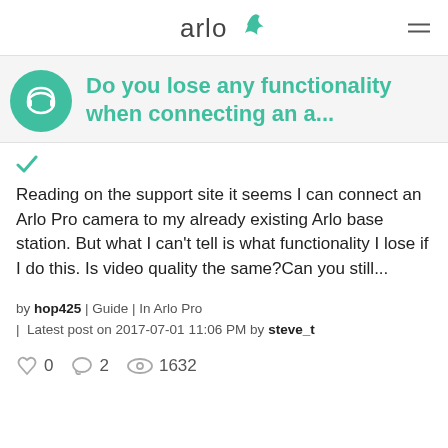arlo
Do you lose any functionality when connecting an a...
Reading on the support site it seems I can connect an Arlo Pro camera to my already existing Arlo base station.  But what I can't tell is what functionality I lose if I do this.   Is video quality the same?Can you still...
by hop425 | Guide | In Arlo Pro | Latest post on 2017-07-01 11:06 PM by steve_t
0  2  1632